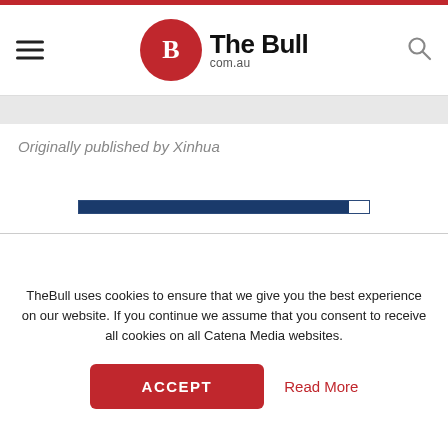The Bull com.au
Originally published by Xinhua
[Figure (other): A loading/progress bar element, dark navy blue, partially filled, appearing to show a page content loading state.]
TheBull uses cookies to ensure that we give you the best experience on our website. If you continue we assume that you consent to receive all cookies on all Catena Media websites.
ACCEPT
Read More